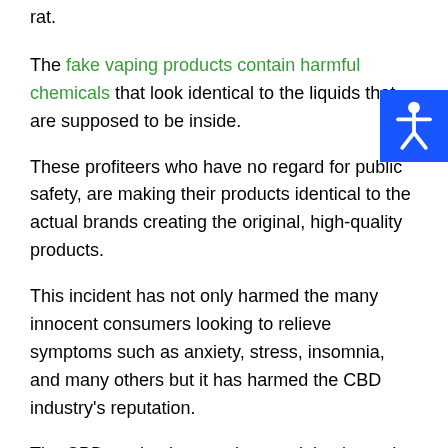rat.
The fake vaping products contain harmful chemicals that look identical to the liquids that are supposed to be inside.
These profiteers who have no regard for public safety, are making their products identical to the actual brands creating the original, high-quality products.
This incident has not only harmed the many innocent consumers looking to relieve symptoms such as anxiety, stress, insomnia, and many others but it has harmed the CBD industry's reputation.
The CBD market is at such a crucial point and with so much confusion surrounding the medical compound, this incident makes CBD seem unsafe.